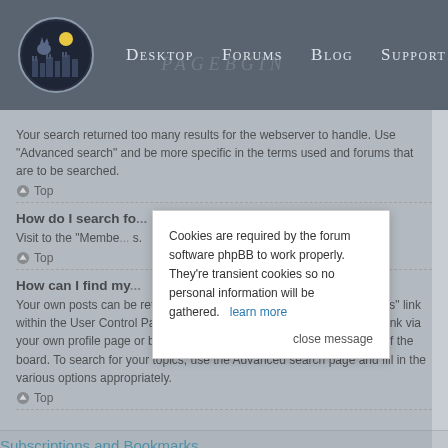Desktop  Forums  Blog  Support
Your search returned too many results for the webserver to handle. Use "Advanced search" and be more specific in the terms used and forums that are to be searched.
Top
How do I search fo...
Visit to the "Membe... s.
Top
How can I find my...
Your own posts can be retrieved either by clicking the "Show your posts" link within the User Control Panel or by clicking the "Search user's posts" link via your own profile page or by clicking the "Quick links" menu at the top of the board. To search for your topics, use the Advanced search page and fill in the various options appropriately.
Top
Subscriptions and Bookmarks
Cookies are required by the forum software phpBB to work properly. They're transient cookies so no personal information will be gathered.   learn more
close message